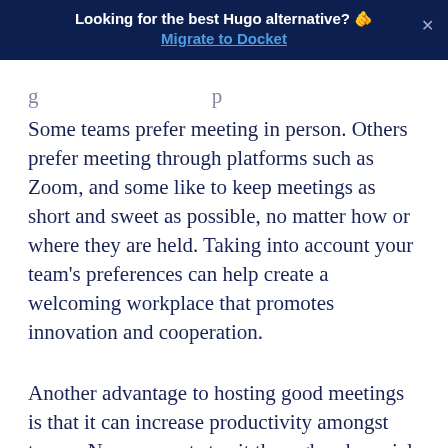Looking for the best Hugo alternative? 👉 Migrate to Docket
Some teams prefer meeting in person. Others prefer meeting through platforms such as Zoom, and some like to keep meetings as short and sweet as possible, no matter how or where they are held. Taking into account your team's preferences can help create a welcoming workplace that promotes innovation and cooperation.
Another advantage to hosting good meetings is that it can increase productivity amongst teams. No one wants to sit through a dry spiel, but by holding a fun, interactive meeting, you can get your team more excited about the concepts and items at hand, which can, in turn, make them more likely to want to go out